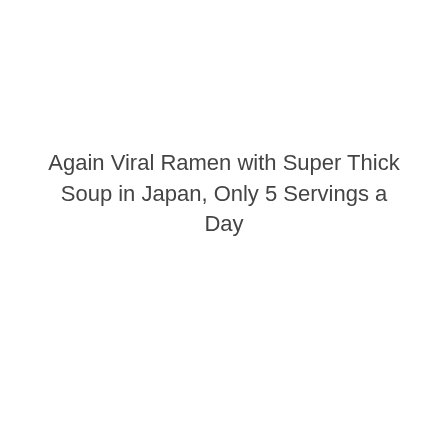Again Viral Ramen with Super Thick Soup in Japan, Only 5 Servings a Day